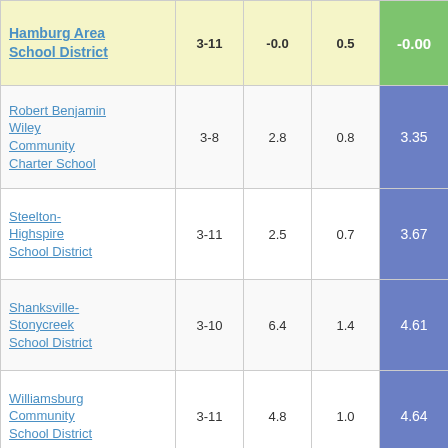| School/District | Grades | Col3 | Col4 | Score |
| --- | --- | --- | --- | --- |
| Hamburg Area School District | 3-11 | -0.0 | 0.5 | -0.00 |
| Robert Benjamin Wiley Community Charter School | 3-8 | 2.8 | 0.8 | 3.35 |
| Steelton-Highspire School District | 3-11 | 2.5 | 0.7 | 3.67 |
| Shanksville-Stonycreek School District | 3-10 | 6.4 | 1.4 | 4.61 |
| Williamsburg Community School District | 3-11 | 4.8 | 1.0 | 4.64 |
| Bear Creek Community Charter School | 3-8 | 4.4 | 0.8 | 5.44 |